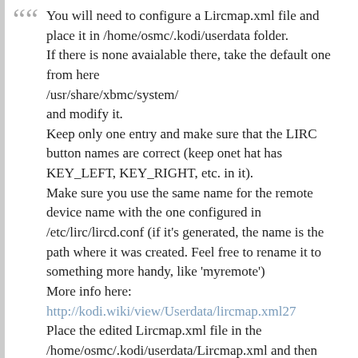You will need to configure a Lircmap.xml file and place it in /home/osmc/.kodi/userdata folder.
If there is none avaialable there, take the default one from here
/usr/share/xbmc/system/
and modify it.
Keep only one entry and make sure that the LIRC button names are correct (keep onet hat has KEY_LEFT, KEY_RIGHT, etc. in it).
Make sure you use the same name for the remote device name with the one configured in /etc/lirc/lircd.conf (if it's generated, the name is the path where it was created. Feel free to rename it to something more handy, like 'myremote')
More info here:
http://kodi.wiki/view/Userdata/lircmap.xml27
Place the edited Lircmap.xml file in the /home/osmc/.kodi/userdata/Lircmap.xml and then restart kodi (or the RPi).